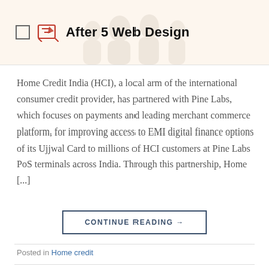After 5 Web Design
Home Credit India (HCI), a local arm of the international consumer credit provider, has partnered with Pine Labs, which focuses on payments and leading merchant commerce platform, for improving access to EMI digital finance options of its Ujjwal Card to millions of HCI customers at Pine Labs PoS terminals across India. Through this partnership, Home [...]
CONTINUE READING →
Posted in Home credit
HOME CREDIT